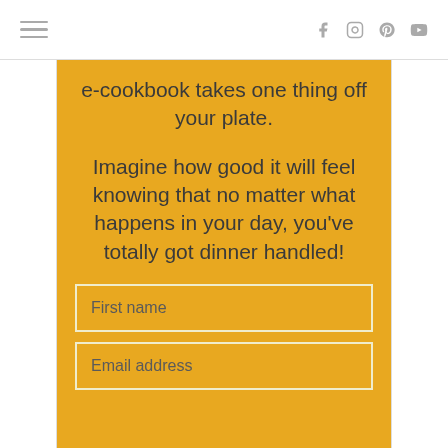Navigation header with hamburger menu and social icons (Facebook, Instagram, Pinterest, YouTube)
e-cookbook takes one thing off your plate.
Imagine how good it will feel knowing that no matter what happens in your day, you've totally got dinner handled!
First name
Email address